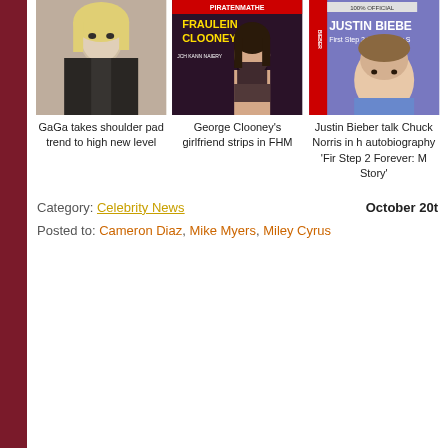[Figure (photo): Lady GaGa photo with blonde hair and dark jacket]
[Figure (photo): FHM magazine cover titled Fraulein Clooney showing a woman in lingerie]
[Figure (photo): Justin Bieber autobiography book cover - First Step 2 Forever: My Story]
GaGa takes shoulder pad trend to high new level
George Clooney's girlfriend strips in FHM
Justin Bieber talks Chuck Norris in his autobiography 'First Step 2 Forever: My Story'
Category: Celebrity News
October 20t
Posted to: Cameron Diaz, Mike Myers, Miley Cyrus